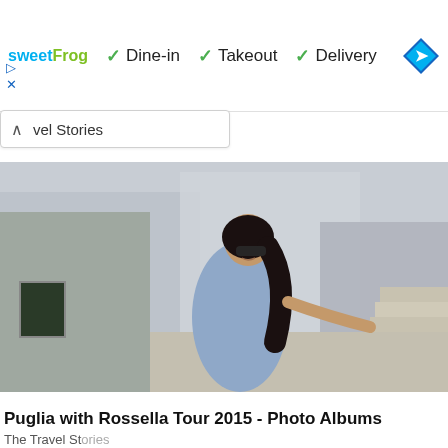[Figure (screenshot): Ad banner for sweetFrog showing Dine-in, Takeout, Delivery options with checkmarks and a blue navigation/directions diamond icon on the right.]
vel Stories
[Figure (photo): A woman with long dark hair and sunglasses wearing a light blue dress, standing among ancient white stone ruins and steps, likely in Puglia, Italy. She is smiling and touching a stone wall.]
Puglia with Rossella Tour 2015 - Photo Albums
The Travel Stories